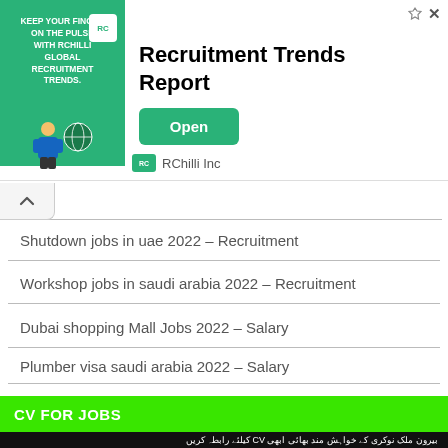[Figure (screenshot): Advertisement banner for RChilli Inc 'Recruitment Trends Report' with green background image block, bold title, and green Open button]
Shutdown jobs in uae 2022 – Recruitment
Workshop jobs in saudi arabia 2022 – Recruitment
Dubai shopping Mall Jobs 2022 – Salary
Plumber visa saudi arabia 2022 – Salary
CV FOR JOBS
[Figure (illustration): Black promotional banner with Urdu text and 'Professional CV For Overseas Jobs' in white bold English text]